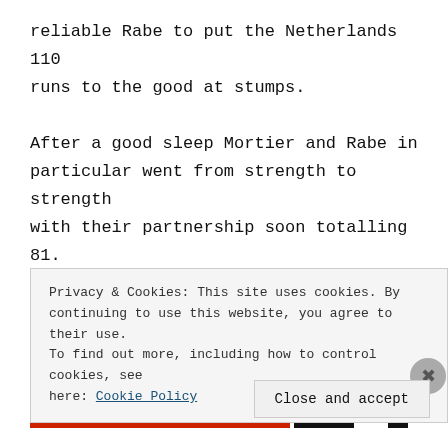reliable Rabe to put the Netherlands 110 runs to the good at stumps.
After a good sleep Mortier and Rabe in particular went from strength to strength with their partnership soon totalling 81. Almost inexplicably the monstrous Mortier (178) edged behind to Buttler off the very first ball bowled by the innocuous
Privacy & Cookies: This site uses cookies. By continuing to use this website, you agree to their use. To find out more, including how to control cookies, see here: Cookie Policy
Close and accept